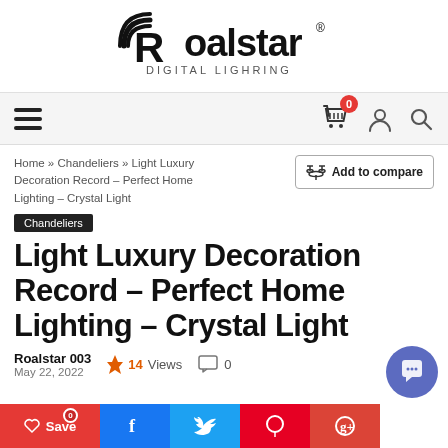Roalstar – DIGITAL LIGHRING
[Figure (logo): Roalstar Digital Lighring logo — stylized R with horizontal lines on left, bold 'Roalstar' wordmark, tagline 'DIGITAL LIGHRING' below]
Home » Chandeliers » Light Luxury Decoration Record – Perfect Home Lighting – Crystal Light
Add to compare
Chandeliers
Light Luxury Decoration Record – Perfect Home Lighting – Crystal Light
Roalstar 003
May 22, 2022
14 Views
0
Save